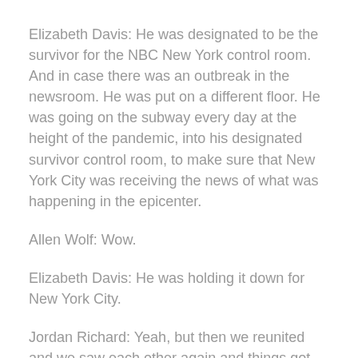Elizabeth Davis: He was designated to be the survivor for the NBC New York control room. And in case there was an outbreak in the newsroom. He was put on a different floor. He was going on the subway every day at the height of the pandemic, into his designated survivor control room, to make sure that New York City was receiving the news of what was happening in the epicenter.
Allen Wolf: Wow.
Elizabeth Davis: He was holding it down for New York City.
Jordan Richard: Yeah, but then we reunited and we saw each other again and things got better. And here we are. You know, I mean, everybody's experienced, I feel like, some sort of hit from the